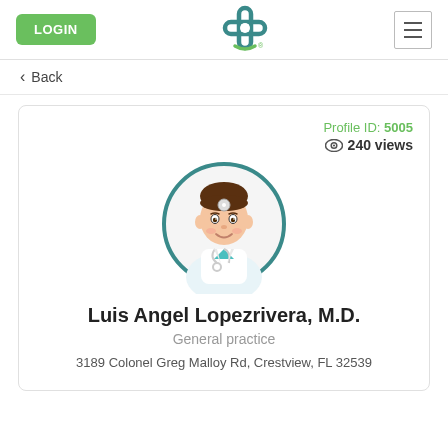LOGIN | [logo] | [hamburger menu]
< Back
Profile ID: 5005
240 views
[Figure (illustration): Cartoon illustration of a male doctor in white coat with stethoscope, inside a circular teal border frame]
Luis Angel Lopezrivera, M.D.
General practice
3189 Colonel Greg Malloy Rd, Crestview, FL 32539